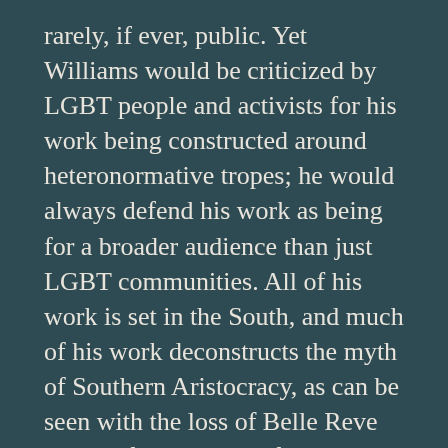rarely, if ever, public. Yet Williams would be criticized by LGBT people and activists for his work being constructed around heteronormative tropes; he would always defend his work as being for a broader audience than just LGBT communities. All of his work is set in the South, and much of his work deconstructs the myth of Southern Aristocracy, as can be seen with the loss of Belle Reve and the falling apart of the Southern Belle Aristocrat.
“The Birth of the Cool”
This section discusses the Aesthetic of the Cool, the idea that an artist should be able to do very difficult acts while making it look as if